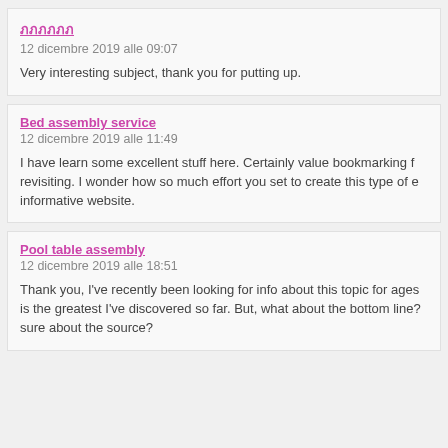ภภภภภภ
12 dicembre 2019 alle 09:07
Very interesting subject, thank you for putting up.
Bed assembly service
12 dicembre 2019 alle 11:49
I have learn some excellent stuff here. Certainly value bookmarking for revisiting. I wonder how so much effort you set to create this type of e informative website.
Pool table assembly
12 dicembre 2019 alle 18:51
Thank you, I've recently been looking for info about this topic for ages is the greatest I've discovered so far. But, what about the bottom line? sure about the source?